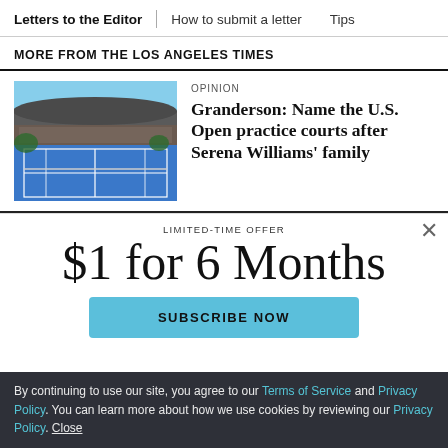Letters to the Editor | How to submit a letter | Tips
MORE FROM THE LOS ANGELES TIMES
[Figure (photo): Aerial view of U.S. Open tennis courts with stadium and crowd]
Granderson: Name the U.S. Open practice courts after Serena Williams' family
OPINION
LIMITED-TIME OFFER
$1 for 6 Months
SUBSCRIBE NOW
By continuing to use our site, you agree to our Terms of Service and Privacy Policy. You can learn more about how we use cookies by reviewing our Privacy Policy. Close